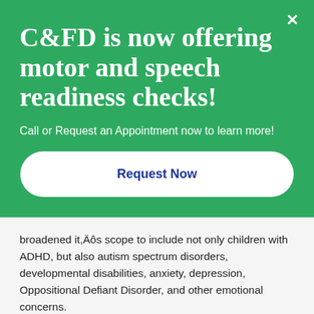C&FD is now offering motor and speech readiness checks!
Call or Request an Appointment now to learn more!
Request Now
broadened it’s scope to include not only children with ADHD, but also autism spectrum disorders, developmental disabilities, anxiety, depression, Oppositional Defiant Disorder, and other emotional concerns.